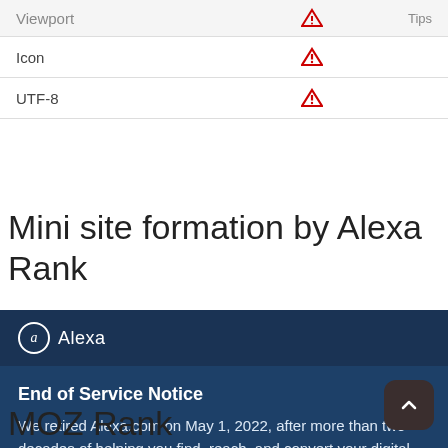|  |  | Tips |
| --- | --- | --- |
| Viewport | ⚠ | Tips |
| Icon | ⚠ |  |
| UTF-8 | ⚠ |  |
Mini site formation by Alexa Rank
[Figure (screenshot): Alexa End of Service Notice box with dark navy background showing header 'Alexa' with logo and content box saying 'End of Service Notice - We retired Alexa.com on May 1, 2022, after more than two decades of helping you find, reach, and convert your digital audience. Thank you for...']
MOZ Rank